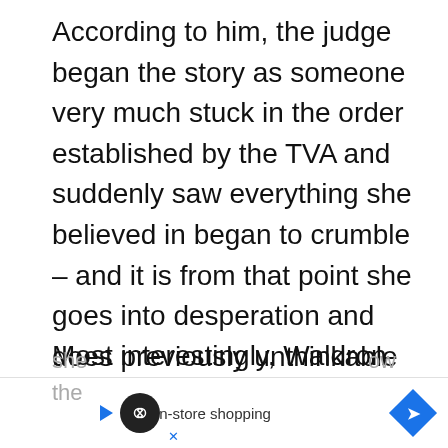According to him, the judge began the story as someone very much stuck in the order established by the TVA and suddenly saw everything she believed in began to crumble – and it is from that point she goes into desperation and does previously unthinkable things.
Most interestingly, Waldron points out that despite all the revelations, Renslayer still believes that the TVA is correct and that she ... ow the ...
[Figure (other): Advertisement banner at bottom of page showing a play button icon, a circular logo with infinity symbol, a checkmark with 'In-store shopping' text, and a blue diamond navigation icon. Partial text 'she' and 'ow' visible above the ad, and 'the' on the left side.]